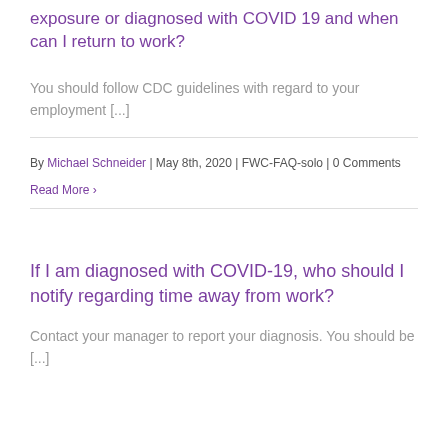exposure or diagnosed with COVID 19 and when can I return to work?
You should follow CDC guidelines with regard to your employment [...]
By Michael Schneider | May 8th, 2020 | FWC-FAQ-solo | 0 Comments
Read More
If I am diagnosed with COVID-19, who should I notify regarding time away from work?
Contact your manager to report your diagnosis. You should be [...]